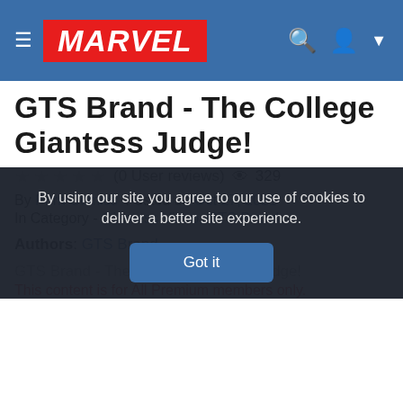[Figure (screenshot): Marvel website navigation bar with hamburger menu, Marvel logo in red, search icon and user icon on the right]
GTS Brand - The College Giantess Judge!
☆ ☆ ☆ ☆ ☆ (0 User reviews) 👁 329
By Porn Comics Posted on Oct 27, 2021
In Category - Giantess Video, GTS Brand
Authors: GTS Brand
GTS Brand - The College Giantess Judge!
This content is for All Premium members only.
By using our site you agree to our use of cookies to deliver a better site experience.
Got it